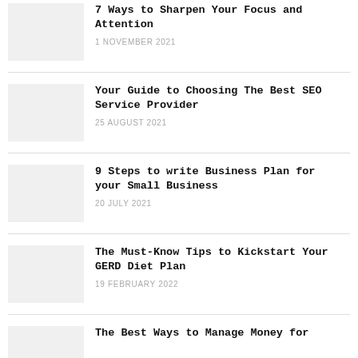7 Ways to Sharpen Your Focus and Attention
1 NOVEMBER 2021
Your Guide to Choosing The Best SEO Service Provider
25 AUGUST 2021
9 Steps to write Business Plan for your Small Business
20 JULY 2021
The Must-Know Tips to Kickstart Your GERD Diet Plan
19 FEBRUARY 2022
The Best Ways to Manage Money for